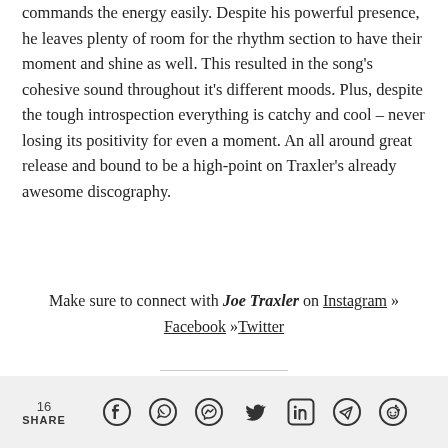commands the energy easily. Despite his powerful presence, he leaves plenty of room for the rhythm section to have their moment and shine as well. This resulted in the song's cohesive sound throughout it's different moods. Plus, despite the tough introspection everything is catchy and cool – never losing its positivity for even a moment. An all around great release and bound to be a high-point on Traxler's already awesome discography.
Make sure to connect with Joe Traxler on Instagram » Facebook »Twitter
16 SHARE [social share icons: Facebook, WhatsApp, Messenger, Twitter, LinkedIn, Telegram, Reddit]